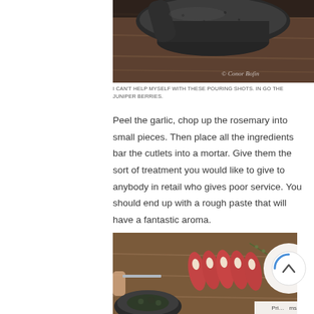[Figure (photo): Close-up photo of a dark granite mortar and pestle on a wooden surface, with watermark text '© Conor Bofin']
I CAN'T HELP MYSELF WITH THESE POURING SHOTS. IN GO THE JUNIPER BERRIES.
Peel the garlic, chop up the rosemary into small pieces. Then place all the ingredients bar the cutlets into a mortar. Give them the sort of treatment you would like to give to anybody in retail who gives poor service. You should end up with a rough paste that will have a fantastic aroma.
[Figure (photo): Photo of raw lamb cutlets arranged on a wooden cutting board with a mortar in the foreground containing herbs/spices, and a hand holding a knife visible on the left]